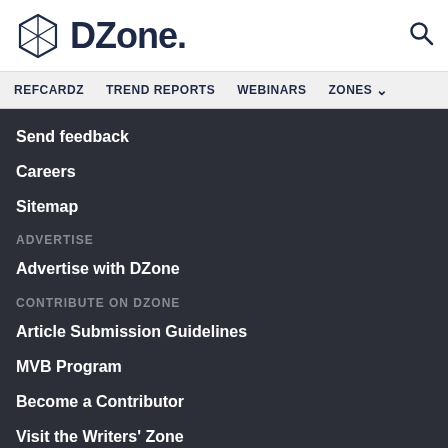[Figure (logo): DZone logo with hexagonal icon and bold DZone. text in dark navy]
REFCARDZ   TREND REPORTS   WEBINARS   ZONES
Send feedback
Careers
Sitemap
ADVERTISE
Advertise with DZone
CONTRIBUTE ON DZONE
Article Submission Guidelines
MVB Program
Become a Contributor
Visit the Writers' Zone
LEGAL
Terms of Service